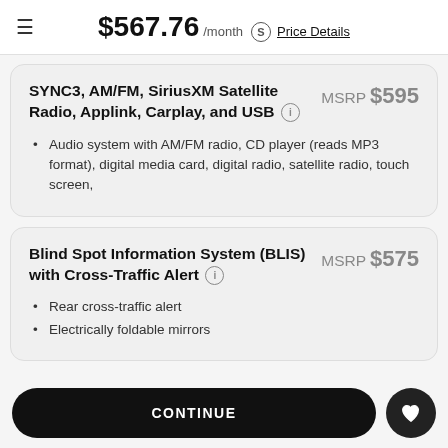$567.76 /month  Price Details
SYNC3, AM/FM, SiriusXM Satellite Radio, Applink, Carplay, and USB
MSRP $595
Audio system with AM/FM radio, CD player (reads MP3 format), digital media card, digital radio, satellite radio, touch screen,
Blind Spot Information System (BLIS) with Cross-Traffic Alert
MSRP $575
Rear cross-traffic alert
Electrically foldable mirrors
CONTINUE